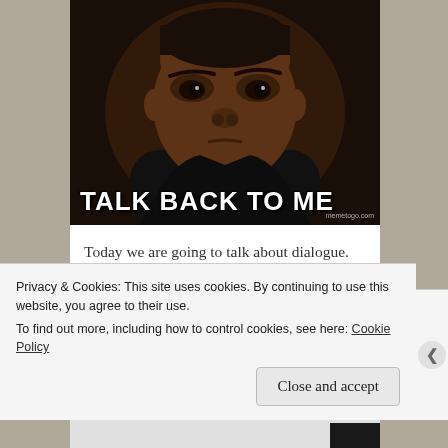[Figure (photo): Meme image of a man with a skeptical/questioning expression, dark background, with bold white text 'TALK BACK TO ME' at the bottom, watermark 'memetogo.com' in bottom right]
Today we are going to talk about dialogue.
Everyone thinks they are great at it, and
Privacy & Cookies: This site uses cookies. By continuing to use this website, you agree to their use.
To find out more, including how to control cookies, see here: Cookie Policy
Close and accept